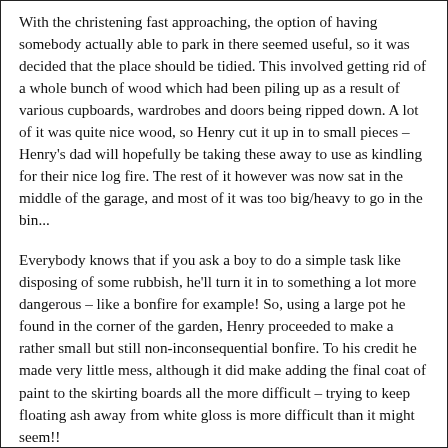With the christening fast approaching, the option of having somebody actually able to park in there seemed useful, so it was decided that the place should be tidied. This involved getting rid of a whole bunch of wood which had been piling up as a result of various cupboards, wardrobes and doors being ripped down. A lot of it was quite nice wood, so Henry cut it up in to small pieces – Henry's dad will hopefully be taking these away to use as kindling for their nice log fire. The rest of it however was now sat in the middle of the garage, and most of it was too big/heavy to go in the bin...
Everybody knows that if you ask a boy to do a simple task like disposing of some rubbish, he'll turn it in to something a lot more dangerous – like a bonfire for example! So, using a large pot he found in the corner of the garden, Henry proceeded to make a rather small but still non-inconsequential bonfire. To his credit he made very little mess, although it did make adding the final coat of paint to the skirting boards all the more difficult – trying to keep floating ash away from white gloss is more difficult than it might seem!!